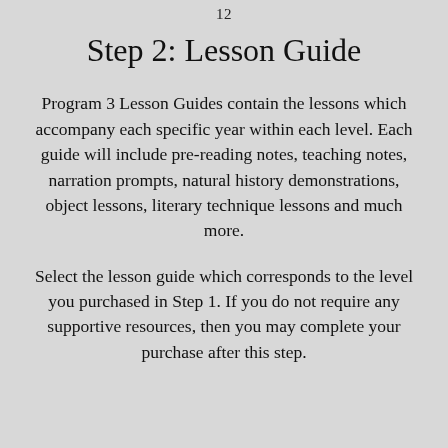12
Step 2: Lesson Guide
Program 3 Lesson Guides contain the lessons which accompany each specific year within each level. Each guide will include pre-reading notes, teaching notes, narration prompts, natural history demonstrations, object lessons, literary technique lessons and much more.
Select the lesson guide which corresponds to the level you purchased in Step 1. If you do not require any supportive resources, then you may complete your purchase after this step.